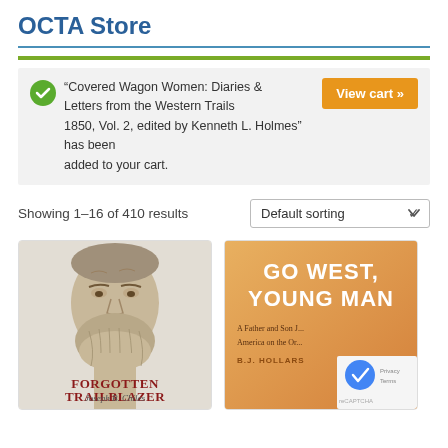OCTA Store
“Covered Wagon Women: Diaries & Letters from the Western Trails 1850, Vol. 2, edited by Kenneth L. Holmes” has been added to your cart.
Showing 1–16 of 410 results
[Figure (screenshot): Default sorting dropdown selector]
[Figure (photo): Book cover: Forgotten Trailblazer by Joseph B. Chiles — featuring a detailed portrait of a bearded elderly man]
[Figure (photo): Book cover: Go West, Young Man — A Father and Son ... America on the O... by B.J. Hollars, orange gradient background with large white bold title text]